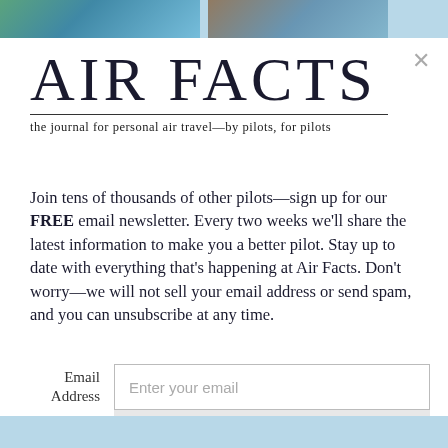[Figure (illustration): Top decorative bar with two map/aerial imagery thumbnails on light blue background]
AIR FACTS
the journal for personal air travel—by pilots, for pilots
Join tens of thousands of other pilots—sign up for our FREE email newsletter. Every two weeks we'll share the latest information to make you a better pilot. Stay up to date with everything that's happening at Air Facts. Don't worry—we will not sell your email address or send spam, and you can unsubscribe at any time.
Email Address  [Enter your email]  Sign Up
[Figure (illustration): Bottom light blue decorative bar]